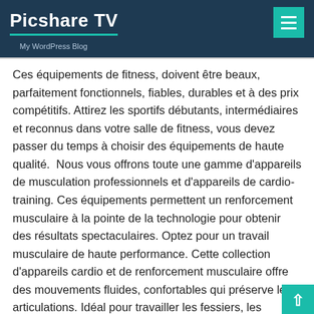Picshare TV
My WordPress Blog
Ces équipements de fitness, doivent être beaux, parfaitement fonctionnels, fiables, durables et à des prix compétitifs. Attirez les sportifs débutants, intermédiaires et reconnus dans votre salle de fitness, vous devez passer du temps à choisir des équipements de haute qualité.  Nous vous offrons toute une gamme d'appareils de musculation professionnels et d'appareils de cardio-training. Ces équipements permettent un renforcement musculaire à la pointe de la technologie pour obtenir des résultats spectaculaires. Optez pour un travail musculaire de haute performance. Cette collection d'appareils cardio et de renforcement musculaire offre des mouvements fluides, confortables qui préserve les articulations. Idéal pour travailler les fessiers, les